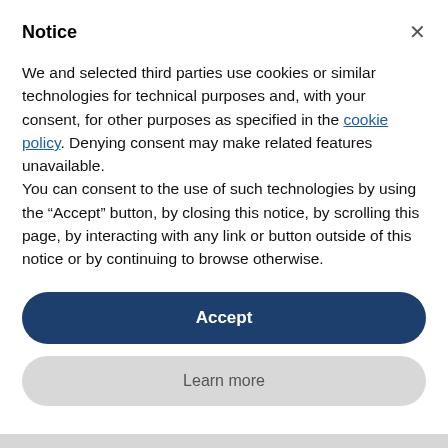Notice
We and selected third parties use cookies or similar technologies for technical purposes and, with your consent, for other purposes as specified in the cookie policy. Denying consent may make related features unavailable.
You can consent to the use of such technologies by using the “Accept” button, by closing this notice, by scrolling this page, by interacting with any link or button outside of this notice or by continuing to browse otherwise.
Accept
Learn more
list view
Open ecosystem dashboard